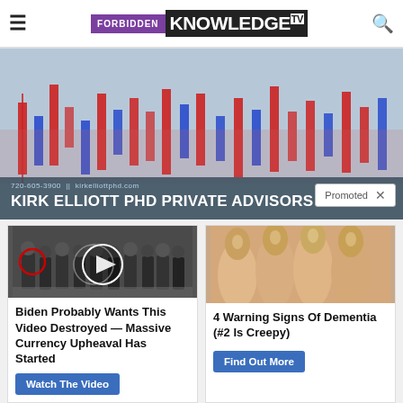FORBIDDEN KNOWLEDGE TV
[Figure (screenshot): Advertisement banner for Kirk Elliott PhD Private Advisors showing financial candlestick charts background with phone number 720-605-3900 and website kirkelliottphd.com. A 'Promoted' tag with X close button appears at bottom right.]
[Figure (photo): Group of people in formal attire at what appears to be a CIA event, with a red circle highlighting one person and a video play button overlay.]
Biden Probably Wants This Video Destroyed — Massive Currency Upheaval Has Started
Watch The Video
[Figure (photo): Close-up photo of fingernails/hands.]
4 Warning Signs Of Dementia (#2 Is Creepy)
Find Out More